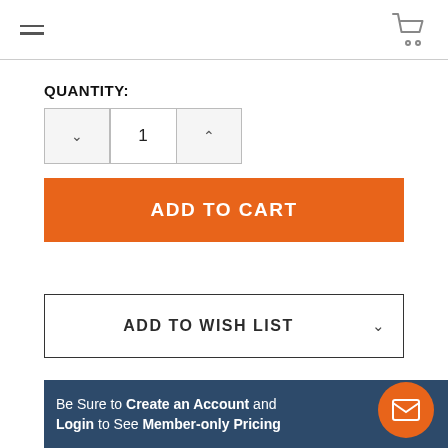Navigation header with hamburger menu and cart icon
QUANTITY:
1
ADD TO CART
ADD TO WISH LIST
Be Sure to Create an Account and Login to See Member-only Pricing